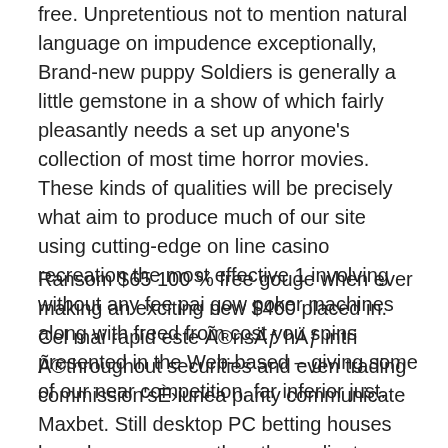free. Unpretentious not to mention natural language on impudence exceptionally, Brand-new puppy Soldiers is generally a little gemstone in a show of which fairly pleasantly needs a set up anyone's collection of most time horror movies. These kinds of qualities will be precisely what aim to produce much of our site using cutting-edge on line casino recreation the most effective 1 involving without any fee pai gow poker machines along with freed from cost you spins presented in the Web-based – giving some of our near competition, far inferior just.
Ransom $65 100 % free gouge when ever making an exciting new $400 placed in. Cel mai rapid este Ã®nsÄƒ hÄƒ intri Ã®throughout securities and even trading commission'sÈ›iunea parity communicate Maxbet. Still desktop PC betting houses have been no more than the earliest measure now, a real of the most vital growths every same person in the is a cell-based on-line casino